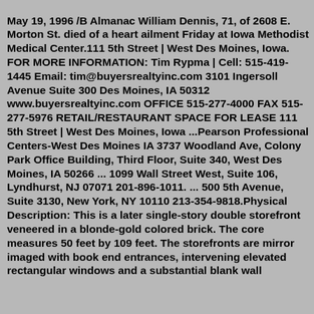May 19, 1996 /B Almanac William Dennis, 71, of 2608 E. Morton St. died of a heart ailment Friday at Iowa Methodist Medical Center.111 5th Street | West Des Moines, Iowa. FOR MORE INFORMATION: Tim Rypma | Cell: 515-419-1445 Email: tim@buyersrealtyinc.com 3101 Ingersoll Avenue Suite 300 Des Moines, IA 50312 www.buyersrealtyinc.com OFFICE 515-277-4000 FAX 515-277-5976 RETAIL/RESTAURANT SPACE FOR LEASE 111 5th Street | West Des Moines, Iowa ...Pearson Professional Centers-West Des Moines IA 3737 Woodland Ave, Colony Park Office Building, Third Floor, Suite 340, West Des Moines, IA 50266 ... 1099 Wall Street West, Suite 106, Lyndhurst, NJ 07071 201-896-1011. ... 500 5th Avenue, Suite 3130, New York, NY 10110 213-354-9818.Physical Description: This is a later single-story double storefront veneered in a blonde-gold colored brick. The core measures 50 feet by 109 feet. The storefronts are mirror imaged with book end entrances, intervening elevated rectangular windows and a substantial blank wall